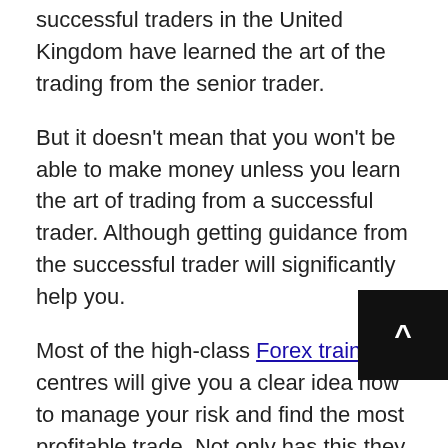successful traders in the United Kingdom have learned the art of the trading from the senior trader.
But it doesn't mean that you won't be able to make money unless you learn the art of trading from a successful trader. Although getting guidance from the successful trader will significantly help you.
Most of the high-class Forex training centres will give you a clear idea how to manage your risk and find the most profitable trade. Not only has this they will also help you to develop strong mental stability to deal with your losing trades.
Since losing trades are just a part of the trading career you should never take more than a 2% risk in any single trade.